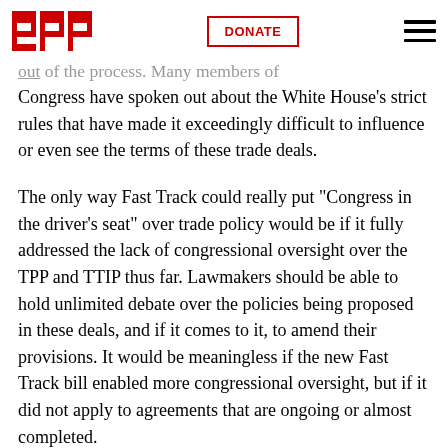EFF | DONATE
the deal. However, we know from the past several years of negotiations that Congress has largely been shut out of the process. Many members of Congress have spoken out about the White House's strict rules that have made it exceedingly difficult to influence or even see the terms of these trade deals.
The only way Fast Track could really put "Congress in the driver's seat" over trade policy would be if it fully addressed the lack of congressional oversight over the TPP and TTIP thus far. Lawmakers should be able to hold unlimited debate over the policies being proposed in these deals, and if it comes to it, to amend their provisions. It would be meaningless if the new Fast Track bill enabled more congressional oversight, but if it did not apply to agreements that are ongoing or almost completed.